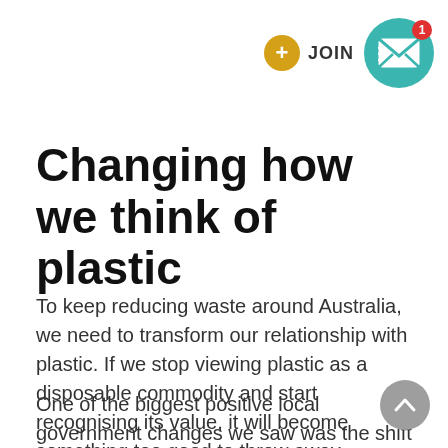+ JOIN [mail icon with badge 1]
Changing how we think of plastic
To keep reducing waste around Australia, we need to transform our relationship with plastic. If we stop viewing plastic as a disposable commodity and start recognising its value, it will become something too good to throw away.
One of the biggest positive local government changes we saw was the shift towards collecting different streams of household waste and recycling. Local governments and the public are moving away from a collect and dump mindset to